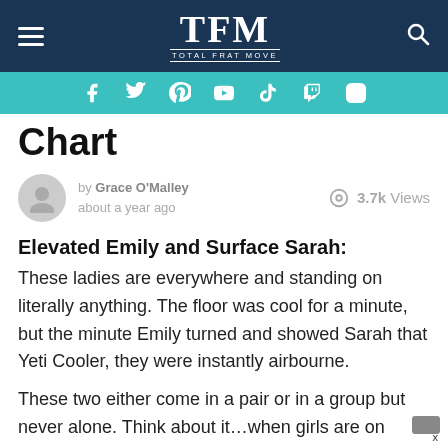TFM — TOTAL FRAT MOVE
Chart
by Grace O'Malley about a year ago   3.7k Views
Elevated Emily and Surface Sarah:
These ladies are everywhere and standing on literally anything. The floor was cool for a minute, but the minute Emily turned and showed Sarah that Yeti Cooler, they were instantly airbourne.
These two either come in a pair or in a group but never alone. Think about it…when girls are on